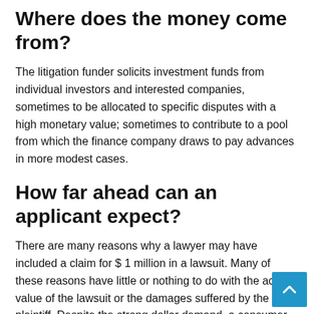Where does the money come from?
The litigation funder solicits investment funds from individual investors and interested companies, sometimes to be allocated to specific disputes with a high monetary value; sometimes to contribute to a pool from which the finance company draws to pay advances in more modest cases.
How far ahead can an applicant expect?
There are many reasons why a lawyer may have included a claim for $ 1 million in a lawsuit. Many of these reasons have little or nothing to do with the actual value of the lawsuit or the damages suffered by the plaintiff. Despite the strong dollar demand, a consumer loan transaction will likely be in the range of $ 5,000 to $ 10,000, although it may go higher. Most complainants use the money to overcome a financial barrier, pay for living expenses, or cover medical treatment.